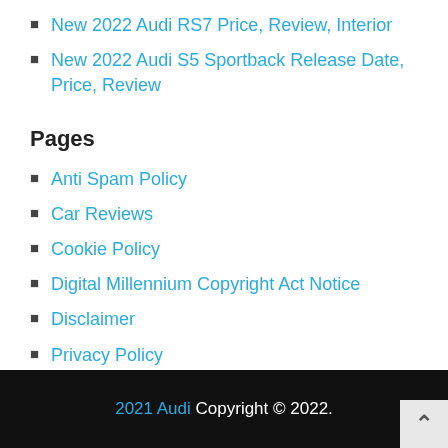New 2022 Audi RS7 Price, Review, Interior
New 2022 Audi S5 Sportback Release Date, Price, Review
Pages
Anti Spam Policy
Car Reviews
Cookie Policy
Digital Millennium Copyright Act Notice
Disclaimer
Privacy Policy
Terms of Use
2021 Audi Copyright © 2022.